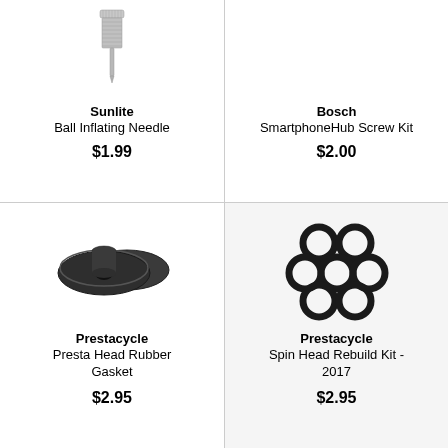[Figure (photo): Sunlite Ball Inflating Needle - small metallic threaded needle]
Sunlite
Ball Inflating Needle
$1.99
[Figure (photo): Bosch SmartphoneHub Screw Kit - no image shown in top right]
Bosch
SmartphoneHub Screw Kit
$2.00
[Figure (photo): Prestacycle Presta Head Rubber Gasket - two black rubber disc gaskets]
Prestacycle
Presta Head Rubber Gasket
$2.95
[Figure (photo): Prestacycle Spin Head Rebuild Kit 2017 - seven small black o-rings arranged in a cluster]
Prestacycle
Spin Head Rebuild Kit - 2017
$2.95